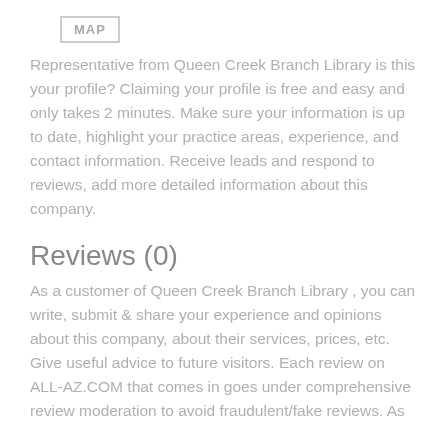[Figure (other): MAP button with border]
Representative from Queen Creek Branch Library is this your profile? Claiming your profile is free and easy and only takes 2 minutes. Make sure your information is up to date, highlight your practice areas, experience, and contact information. Receive leads and respond to reviews, add more detailed information about this company.
Reviews (0)
As a customer of Queen Creek Branch Library , you can write, submit & share your experience and opinions about this company, about their services, prices, etc. Give useful advice to future visitors. Each review on ALL-AZ.COM that comes in goes under comprehensive review moderation to avoid fraudulent/fake reviews. As